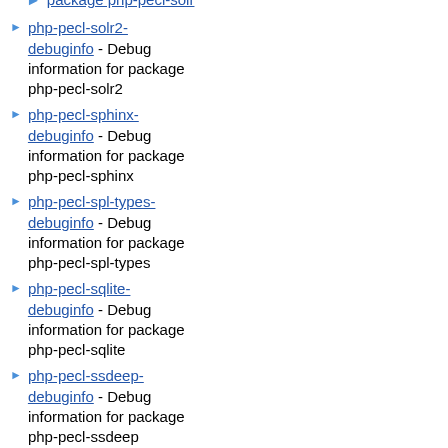php-pecl-solr2-debuginfo - Debug information for package php-pecl-solr2
php-pecl-sphinx-debuginfo - Debug information for package php-pecl-sphinx
php-pecl-spl-types-debuginfo - Debug information for package php-pecl-spl-types
php-pecl-sqlite-debuginfo - Debug information for package php-pecl-sqlite
php-pecl-ssdeep-debuginfo - Debug information for package php-pecl-ssdeep
php-pecl-ssh2-debuginfo - Debug information for package php-pecl-ssh2
php-pecl-stats-debuginfo - Debug information for package php-pecl-stats